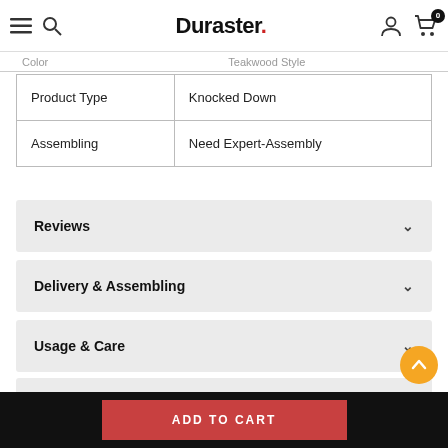Duraster. [navigation bar with hamburger, search, account, cart icons]
| Attribute | Value |
| --- | --- |
| Product Type | Knocked Down |
| Assembling | Need Expert-Assembly |
Reviews
Delivery & Assembling
Usage & Care
Questions & Customization
ADD TO CART